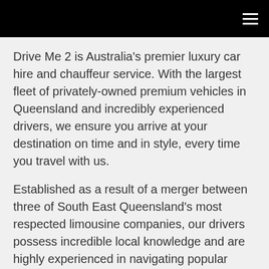≡
Drive Me 2 is Australia's premier luxury car hire and chauffeur service. With the largest fleet of privately-owned premium vehicles in Queensland and incredibly experienced drivers, we ensure you arrive at your destination on time and in style, every time you travel with us.
Established as a result of a merger between three of South East Queensland's most respected limousine companies, our drivers possess incredible local knowledge and are highly experienced in navigating popular routes